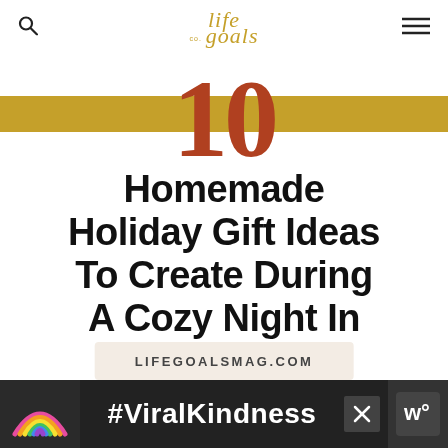life co. goals
[Figure (illustration): Gold horizontal banner with large burnt-orange/rust colored number '10' overlaid on top, centered on the banner]
Homemade Holiday Gift Ideas To Create During A Cozy Night In
LIFEGOALSMAG.COM
[Figure (photo): Bottom advertisement strip with dark background, rainbow illustration on left, #ViralKindness text in white, close button, and logo on right]